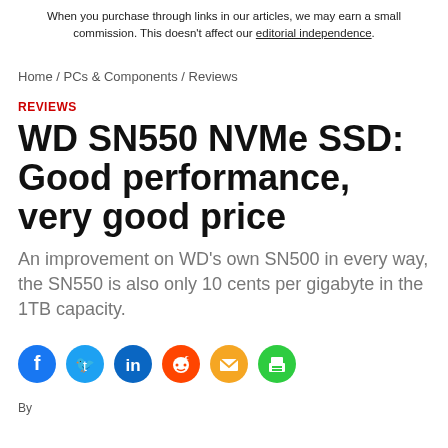When you purchase through links in our articles, we may earn a small commission. This doesn't affect our editorial independence.
Home / PCs & Components / Reviews
REVIEWS
WD SN550 NVMe SSD: Good performance, very good price
An improvement on WD's own SN500 in every way, the SN550 is also only 10 cents per gigabyte in the 1TB capacity.
[Figure (infographic): Social sharing icons: Facebook (blue), Twitter (blue), LinkedIn (dark blue), Reddit (orange), Email (yellow/orange), Print (green)]
By